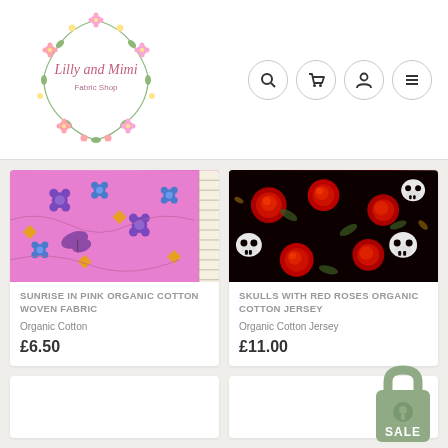[Figure (logo): Lilly and Mimi Fabric Shop logo — circular floral wreath with pink flowers and text in the center]
[Figure (screenshot): Navigation icons: search, cart, user/account, menu (hamburger)]
[Figure (photo): Pink floral fabric with butterflies and flowers — Sunrise in Pink Organic Cotton Woven Fabric]
SUNRISE IN PINK ORGANIC COTTON WOVEN FABRIC
Organic Cotton
£6.50
[Figure (photo): Black fabric with red roses and white skulls — Skulls with Red Roses Organic Cotton Jersey]
SKULLS WITH RED ROSES ORGANIC COTTON JERSEY
Organic Cotton Jersey
£11.00
[Figure (other): SALE badge with lock/tag icon in sage green]